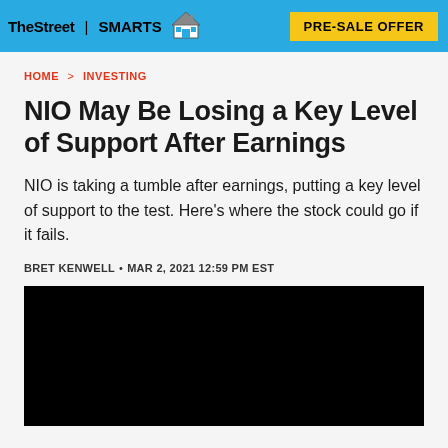TheStreet | SMARTS  PRE-SALE OFFER
HOME > INVESTING
NIO May Be Losing a Key Level of Support After Earnings
NIO is taking a tumble after earnings, putting a key level of support to the test. Here's where the stock could go if it fails.
BRET KENWELL • MAR 2, 2021 12:59 PM EST
[Figure (photo): Black video player embed area]